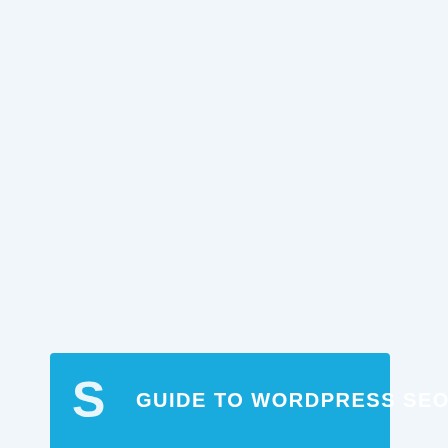[Figure (infographic): Cover page of a guide document. Light blue-gray background filling most of the page. At the bottom, a bright blue banner with a stylized white 'S' logo on the left and the text 'GUIDE TO WORDPRESS SEO' in bold white uppercase letters.]